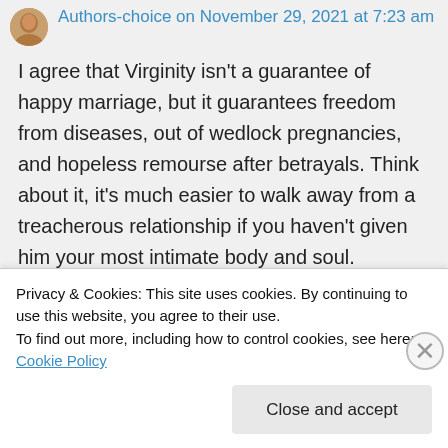Authors-choice on November 29, 2021 at 7:23 am
I agree that Virginity isn't a guarantee of happy marriage, but it guarantees freedom from diseases, out of wedlock pregnancies, and hopeless remourse after betrayals. Think about it, it's much easier to walk away from a treacherous relationship if you haven't given him your most intimate body and soul.
Privacy & Cookies: This site uses cookies. By continuing to use this website, you agree to their use.
To find out more, including how to control cookies, see here: Cookie Policy